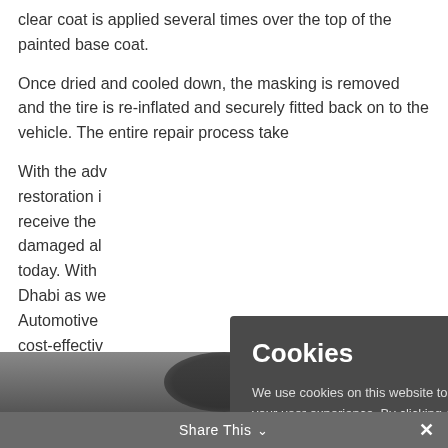clear coat is applied several times over the top of the painted base coat.
Once dried and cooled down, the masking is removed and the tire is re-inflated and securely fitted back on to the vehicle. The entire repair process take…
With the adv… restoration i… receive the … damaged al… today. With … Dhabi as we… Automotive … cost-effecti… damages.
[Figure (screenshot): Cookie consent dialog overlay on a dark grey background, with title 'Cookies', body text about cookie usage, a teal 'Find out more.' link, and an 'Okay, thank you' teal button.]
[Figure (photo): Bottom strip showing a dark automotive part (wheel/tire) partially visible at the bottom of the page.]
Share This ∨   ×